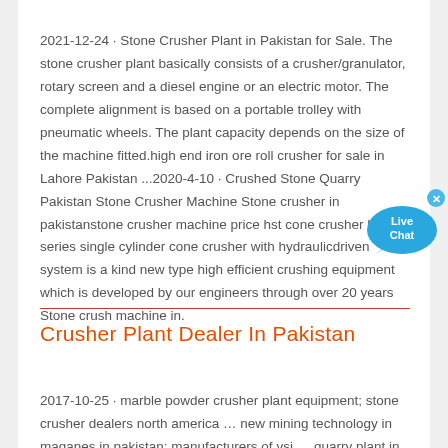2021-12-24 · Stone Crusher Plant in Pakistan for Sale. The stone crusher plant basically consists of a crusher/granulator, rotary screen and a diesel engine or an electric motor. The complete alignment is based on a portable trolley with pneumatic wheels. The plant capacity depends on the size of the machine fitted.high end iron ore roll crusher for sale in Lahore Pakistan ...2020-4-10 · Crushed Stone Quarry Pakistan Stone Crusher Machine Stone crusher in pakistanstone crusher machine price hst cone crusher hst series single cylinder cone crusher with hydraulicdriven system is a kind new type high efficient crushing equipment which is developed by our engineers through over 20 years Stone crush machine in.
Crusher Plant Dealer In Pakistan
2017-10-25 · marble powder crusher plant equipment; stone crusher dealers north america … new mining technology in maganes in pakistan; manufacturers of vsi … quarry plant in new zealand, crusher